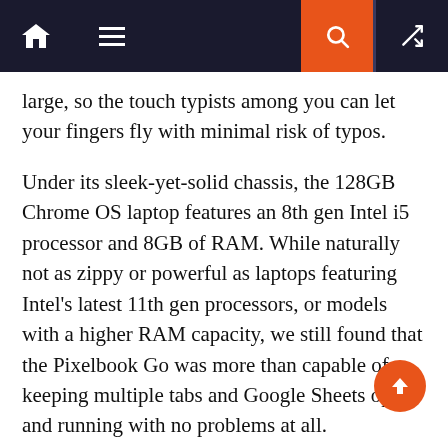Navigation bar with home, menu, search, and shuffle icons
large, so the touch typists among you can let your fingers fly with minimal risk of typos.
Under its sleek-yet-solid chassis, the 128GB Chrome OS laptop features an 8th gen Intel i5 processor and 8GB of RAM. While naturally not as zippy or powerful as laptops featuring Intel's latest 11th gen processors, or models with a higher RAM capacity, we still found that the Pixelbook Go was more than capable of keeping multiple tabs and Google Sheets open and running with no problems at all.
The biggest disappointment of the Pixelbook Go – at least, as far as this model is concerned – is the display. To be clear, it's not a bad display as far as Chromebooks go, the 13.3in panel is perfectly sharp and capable of reasonable brightness levels.
The problem is that the high-end i7 iteration comes with a 4K